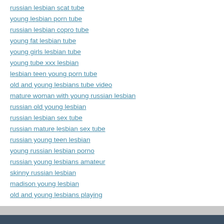russian lesbian scat tube
young lesbian porn tube
russian lesbian copro tube
young fat lesbian tube
young girls lesbian tube
young tube xxx lesbian
lesbian teen young porn tube
old and young lesbians tube video
mature woman with young russian lesbian
russian old young lesbian
russian lesbian sex tube
russian mature lesbian sex tube
russian young teen lesbian
young russian lesbian porno
russian young lesbians amateur
skinny russian lesbian
madison young lesbian
old and young lesbians playing
Смотри русское порно © 2022